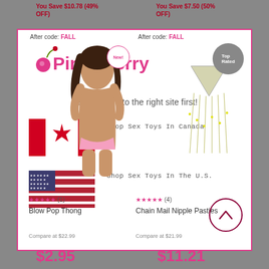You Save $10.78 (49% OFF)
You Save $7.50 (50% OFF)
After code: FALL
After code: FALL
[Figure (logo): PinkCherry logo with cherry icon and 'New!' badge]
[Figure (illustration): Top Rated badge (grey circle)]
Let's get you to the right site first!
[Figure (photo): Woman posing, wearing pink thong underwear]
[Figure (illustration): Chain mail nipple pasties jewelry product image]
[Figure (illustration): Canadian flag]
Shop Sex Toys In Canada
[Figure (illustration): US flag]
Shop Sex Toys In The U.S.
★★★★★ (1)
★★★★★ (4)
Blow Pop Thong
Chain Mail Nipple Pasties
Compare at $22.99
Compare at $21.99
$2.95
$11.21